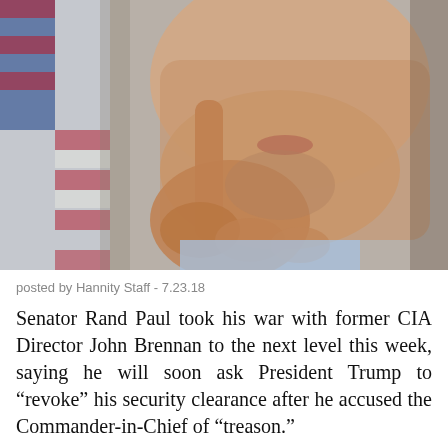[Figure (photo): Close-up photo of a man's lower face and hand resting under his chin in a thoughtful pose, with an American flag blurred in the background]
posted by Hannity Staff - 7.23.18
Senator Rand Paul took his war with former CIA Director John Brennan to the next level this week, saying he will soon ask President Trump to “revoke” his security clearance after he accused the Commander-in-Chief of “treason.”